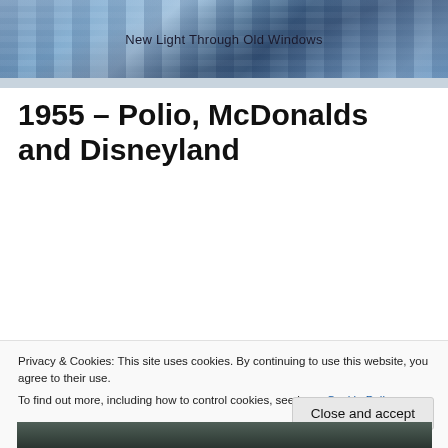New Light Through Old Windows
1955 – Polio, McDonalds and Disneyland
[Figure (photo): Black and white vintage photograph showing crowds of people with machinery or industrial equipment, circa 1955]
Privacy & Cookies: This site uses cookies. By continuing to use this website, you agree to their use.
To find out more, including how to control cookies, see here: Cookie Policy
[Figure (photo): Partial black and white vintage photograph at bottom of page]